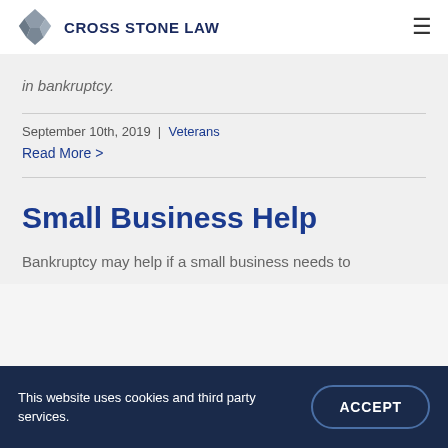CROSS STONE LAW
in bankruptcy.
September 10th, 2019 | Veterans
Read More >
Small Business Help
Bankruptcy may help if a small business needs to
This website uses cookies and third party services.